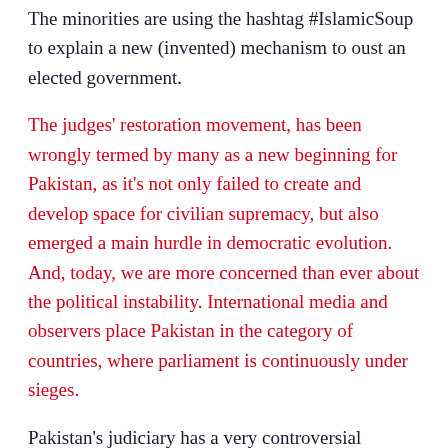The minorities are using the hashtag #IslamicSoup to explain a new (invented) mechanism to oust an elected government.
The judges' restoration movement, has been wrongly termed by many as a new beginning for Pakistan, as it's not only failed to create and develop space for civilian supremacy, but also emerged a main hurdle in democratic evolution. And, today, we are more concerned than ever about the political instability. International media and observers place Pakistan in the category of countries, where parliament is continuously under sieges.
Pakistan's judiciary has a very controversial history, which had never opposed, even the unconstitutional actions of the military dictators. The frequent imposition of martial laws, abrogation and suspension of constitutions were acts of treason under the law but were frequently validated by our apex courts.